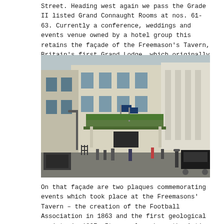Street. Heading west again we pass the Grade II listed Grand Connaught Rooms at nos. 61-63. Currently a conference, weddings and events venue owned by a hotel group this retains the façade of the Freemason's Tavern, Britain's first Grand Lodge, which originally stood here (until 1905).
[Figure (photo): Street-level photograph of the Grand Connaught Rooms building facade, a large white/cream classical building with columns. A green-roofed entrance canopy is visible, flags fly above, and pedestrians and vehicles are seen on the street in front.]
On that façade are two plaques commemorating events which took place at the Freemasons' Tavern – the creation of the Football Association in 1863 and the first geological society in 1807. It was also where the Anti-Slavery Society was founded apparently. Surely you'd want to make more noise about that than the